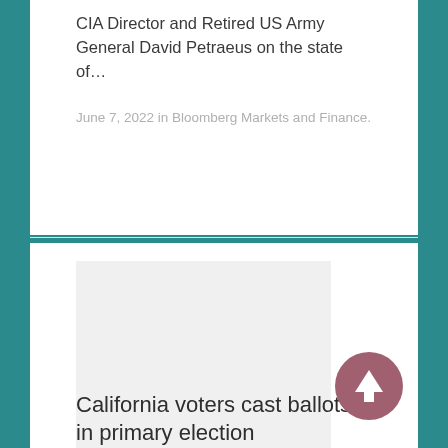CIA Director and Retired US Army General David Petraeus on the state of…
June 7, 2022 in Bloomberg Markets and Finance.
[Figure (photo): Blank/placeholder image area in article card]
California voters cast ballots in primary election